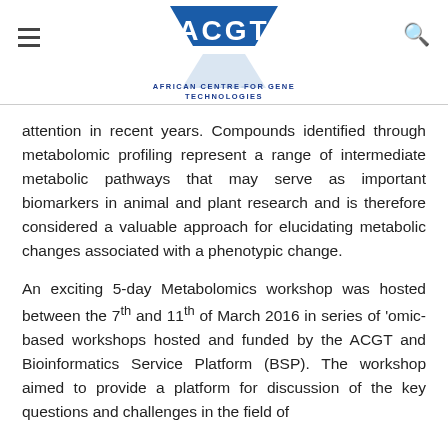ACGT – African Centre for Gene Technologies
attention in recent years. Compounds identified through metabolomic profiling represent a range of intermediate metabolic pathways that may serve as important biomarkers in animal and plant research and is therefore considered a valuable approach for elucidating metabolic changes associated with a phenotypic change.
An exciting 5-day Metabolomics workshop was hosted between the 7th and 11th of March 2016 in series of 'omic-based workshops hosted and funded by the ACGT and Bioinformatics Service Platform (BSP). The workshop aimed to provide a platform for discussion of the key questions and challenges in the field of